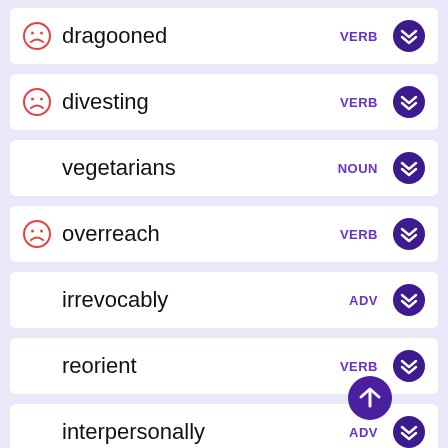dragooned — VERB
divesting — VERB
vegetarians — NOUN
overreach — VERB
irrevocably — ADV
reorient — VERB
interpersonally — ADV